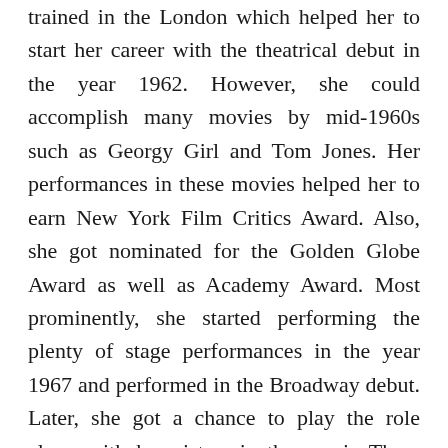trained in the London which helped her to start her career with the theatrical debut in the year 1962. However, she could accomplish many movies by mid-1960s such as Georgy Girl and Tom Jones. Her performances in these movies helped her to earn New York Film Critics Award. Also, she got nominated for the Golden Globe Award as well as Academy Award. Most prominently, she started performing the plenty of stage performances in the year 1967 and performed in the Broadway debut. Later, she got a chance to play the role along with her sisters in the movie Three Sisters filmed in London. Consecutively, in the year 1991, she